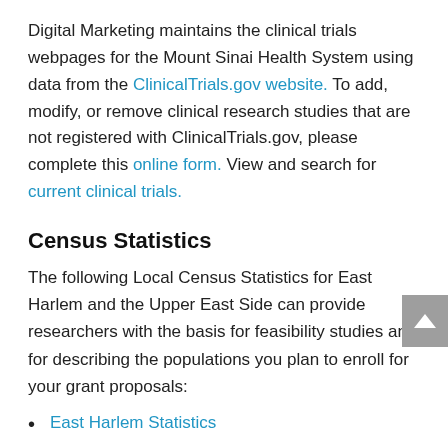Digital Marketing maintains the clinical trials webpages for the Mount Sinai Health System using data from the ClinicalTrials.gov website. To add, modify, or remove clinical research studies that are not registered with ClinicalTrials.gov, please complete this online form. View and search for current clinical trials.
Census Statistics
The following Local Census Statistics for East Harlem and the Upper East Side can provide researchers with the basis for feasibility studies and for describing the populations you plan to enroll for your grant proposals:
East Harlem Statistics
Upper East Side Statistics
Race NYC Pie Chart 2008
US Census Statistics